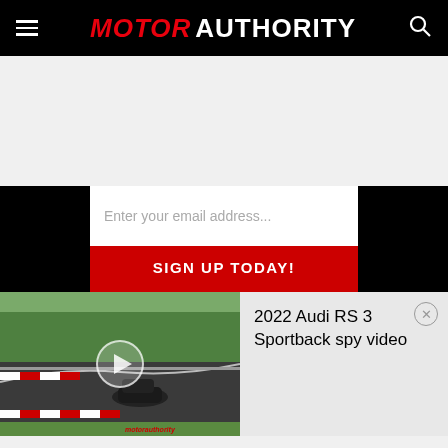MOTOR AUTHORITY
[Figure (screenshot): Email signup form with input field placeholder 'Enter your email address...' and red button 'SIGN UP TODAY!']
[Figure (screenshot): Video player thumbnail showing a car on a racetrack (Nürburgring), with play button overlay and watermark 'motorauthority']
2022 Audi RS 3 Sportback spy video